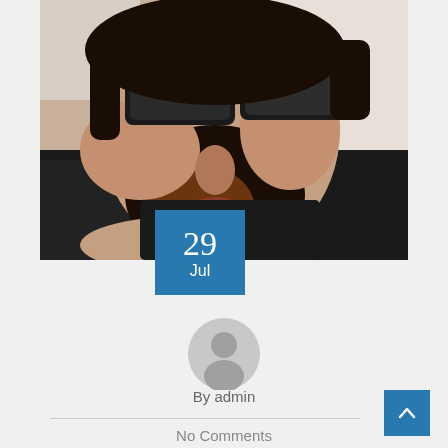[Figure (photo): Close-up selfie photo of a bearded man wearing dark sunglasses and a black t-shirt]
29
Jul
[Figure (illustration): Generic grey user avatar icon]
By admin
No Comments